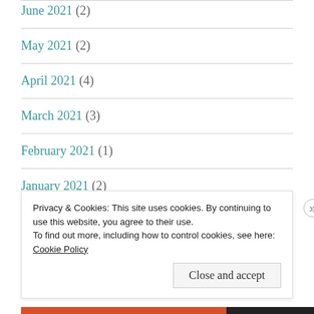June 2021 (2)
May 2021 (2)
April 2021 (4)
March 2021 (3)
February 2021 (1)
January 2021 (2)
December 2020 (2)
November 2020 (1)
Privacy & Cookies: This site uses cookies. By continuing to use this website, you agree to their use.
To find out more, including how to control cookies, see here: Cookie Policy
Close and accept